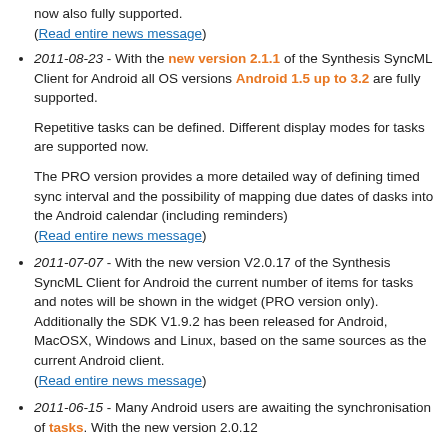now also fully supported.
(Read entire news message)
2011-08-23 - With the new version 2.1.1 of the Synthesis SyncML Client for Android all OS versions Android 1.5 up to 3.2 are fully supported.

Repetitive tasks can be defined. Different display modes for tasks are supported now.

The PRO version provides a more detailed way of defining timed sync interval and the possibility of mapping due dates of dasks into the Android calendar (including reminders)
(Read entire news message)
2011-07-07 - With the new version V2.0.17 of the Synthesis SyncML Client for Android the current number of items for tasks and notes will be shown in the widget (PRO version only). Additionally the SDK V1.9.2 has been released for Android, MacOSX, Windows and Linux, based on the same sources as the current Android client.
(Read entire news message)
2011-06-15 - Many Android users are awaiting the synchronisation of tasks. With the new version 2.0.12